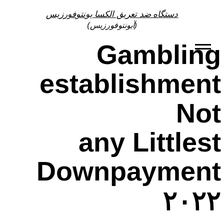دستگاه ضد تعریق الکسا یونتوفورزیس (آیونتوفورزیس)
Gambling establishment Not any Littlest Downpayment ۲۰۲۲